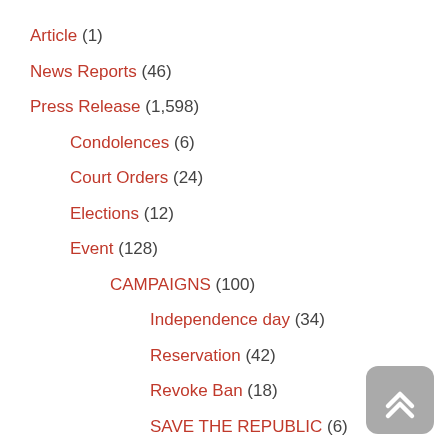Article (1)
News Reports (46)
Press Release (1,598)
Condolences (6)
Court Orders (24)
Elections (12)
Event (128)
CAMPAIGNS (100)
Independence day (34)
Reservation (42)
Revoke Ban (18)
SAVE THE REPUBLIC (6)
Human Rights Issues (36)
International Issues (27)